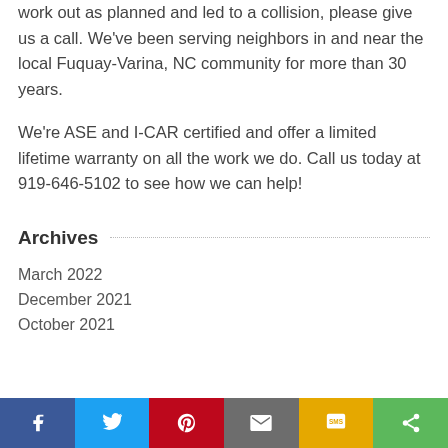work out as planned and led to a collision, please give us a call. We've been serving neighbors in and near the local Fuquay-Varina, NC community for more than 30 years.
We're ASE and I-CAR certified and offer a limited lifetime warranty on all the work we do. Call us today at 919-646-5102 to see how we can help!
Archives
March 2022
December 2021
October 2021